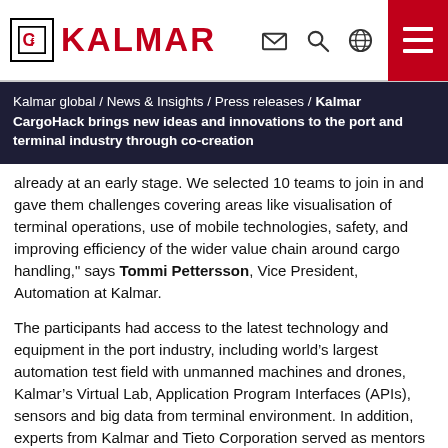KALMAR
Kalmar global / News & Insights / Press releases / Kalmar CargoHack brings new ideas and innovations to the port and terminal industry through co-creation
already at an early stage. We selected 10 teams to join in and gave them challenges covering areas like visualisation of terminal operations, use of mobile technologies, safety, and improving efficiency of the wider value chain around cargo handling," says Tommi Pettersson, Vice President, Automation at Kalmar.
The participants had access to the latest technology and equipment in the port industry, including world’s largest automation test field with unmanned machines and drones, Kalmar’s Virtual Lab, Application Program Interfaces (APIs), sensors and big data from terminal environment. In addition, experts from Kalmar and Tieto Corporation served as mentors for the teams during the entire event.
"Improving performance by utilising technology that is already available and safety turned out to be the most common themes in the final pitches. Many proposals looked for new ways to use drones, sensors, robots, smart glasses or other innovative tools and